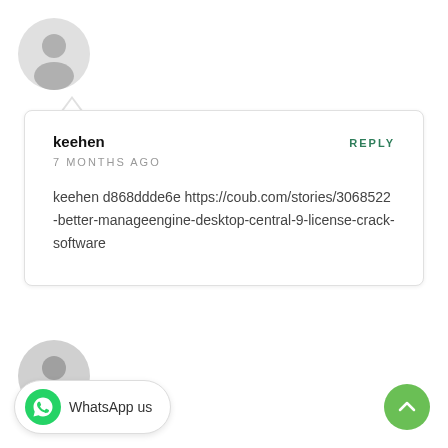[Figure (illustration): Gray default user avatar icon at top left]
keehen
REPLY
7 MONTHS AGO
keehen d868ddde6e https://coub.com/stories/3068522-better-manageengine-desktop-central-9-license-crack-software
[Figure (illustration): Gray default user avatar icon at bottom left, partially visible]
[Figure (illustration): WhatsApp button with green phone icon and 'WhatsApp us' text]
[Figure (illustration): Green scroll-to-top button with upward chevron]